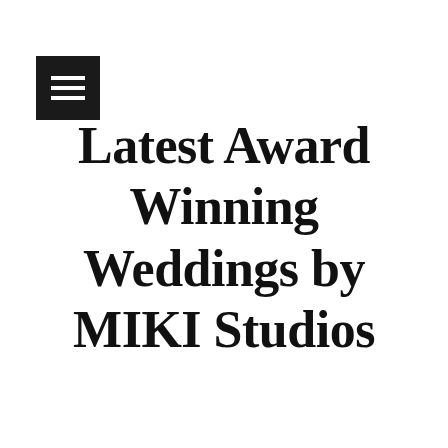[Figure (other): Hamburger menu button: dark square with three horizontal white lines]
Latest Award Winning Weddings by MIKI Studios